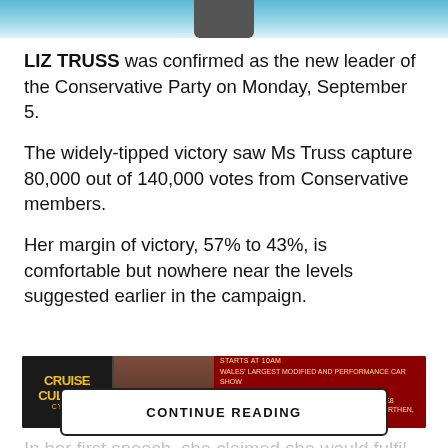[Figure (photo): Top portion of a news article page showing a partial image (blue/teal background with a dark centered element, possibly a person's head/shoulders cropped at bottom of image area)]
LIZ TRUSS was confirmed as the new leader of the Conservative Party on Monday, September 5.
The widely-tipped victory saw Ms Truss capture 80,000 out of 140,000 votes from Conservative members.
Her margin of victory, 57% to 43%, is comfortable but nowhere near the levels suggested earlier in the campaign.
[Figure (photo): Advertisement banner for Cruise Culture car show: SUNDAY 28TH AUGUST 2022, Wales' Largest Modified and Performance Car Show, Squibb Freestyle MX Display, Advanced Tickets £6 • On the Gate Tickets £8, Carmarthen Showground, Nantyci, Carmarthen, SA33 8DR, Tickets now available at www.cruise-culture.co.uk]
In her first speech, she claimed she would fulfil the pledges made in the Party's 2019 election manifesto and
CONTINUE READING